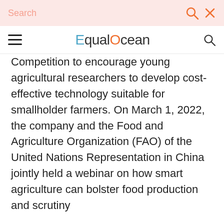Search
EqualOcean
Competition to encourage young agricultural researchers to develop cost-effective technology suitable for smallholder farmers. On March 1, 2022, the company and the Food and Agriculture Organization (FAO) of the United Nations Representation in China jointly held a webinar on how smart agriculture can bolster food production and scrutiny
Wuliangye Yibin (000858: SH)
Wuliangye Yibin cellar site is included in the list of cultural relics protection units as the only liquor